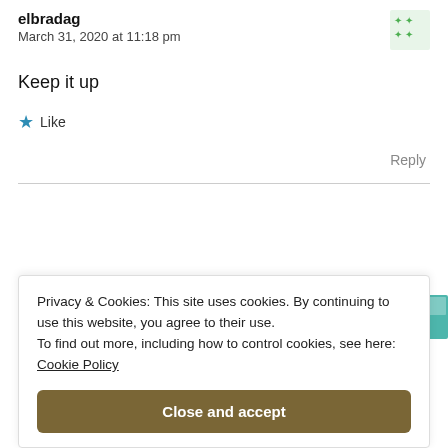elbradag
March 31, 2020 at 11:18 pm
Keep it up
★ Like
Reply
Linda Pointail
Privacy & Cookies: This site uses cookies. By continuing to use this website, you agree to their use.
To find out more, including how to control cookies, see here:
Cookie Policy
Close and accept